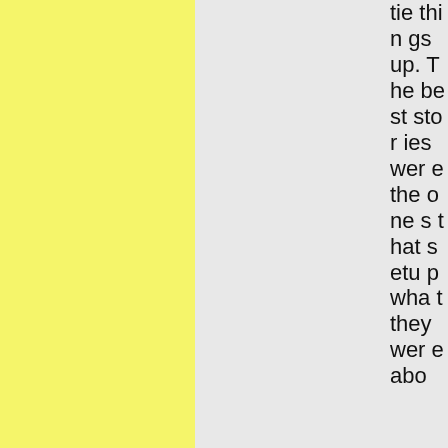tie things up. The best stories were the ones that setup what they were abo